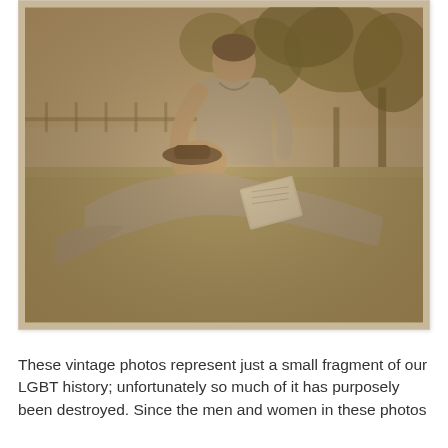[Figure (photo): A vintage sepia-toned photograph showing two people relaxing outdoors on grass. One person is sitting upright while the other is lying with their head resting on the first person's lap. Trees are visible in the background. The photo has a warm sepia tone typical of early to mid 20th century photography.]
These vintage photos represent just a small fragment of our LGBT history; unfortunately so much of it has purposely been destroyed. Since the men and women in these photos